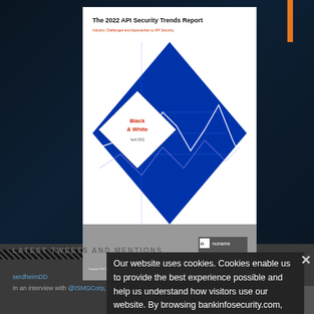[Figure (screenshot): Screenshot of a website showing 'The 2022 API Security Trends Report' cover image by Noname Security, with a white report card overlaid on a dark blue tech-pattern background. The report cover shows a diamond-shaped graphic with 'Black & White' text and 'April 2022' on it, plus the Noname logo at the bottom.]
Our website uses cookies. Cookies enable us to provide the best experience possible and help us understand how visitors use our website. By browsing bankinfosecurity.com, you agree to our use of cookies.
LATEST TWEETS AND MENTIONS
serdheimDD
In an interview with @ISMGCorp, Nic Finn